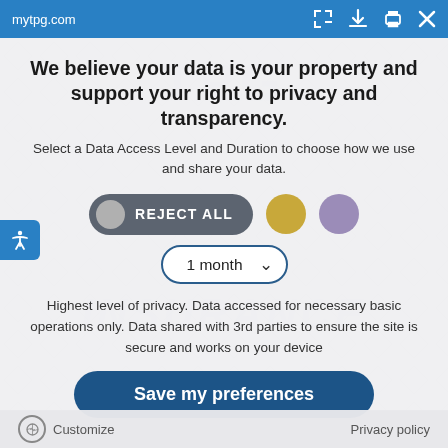mytpg.com
We believe your data is your property and support your right to privacy and transparency.
Select a Data Access Level and Duration to choose how we use and share your data.
[Figure (screenshot): Privacy consent dialog with REJECT ALL toggle button (dark grey pill with grey circle), a gold circle button, a purple circle button, and a '1 month' dropdown selector with chevron.]
Highest level of privacy. Data accessed for necessary basic operations only. Data shared with 3rd parties to ensure the site is secure and works on your device
Save my preferences
Customize   Privacy policy